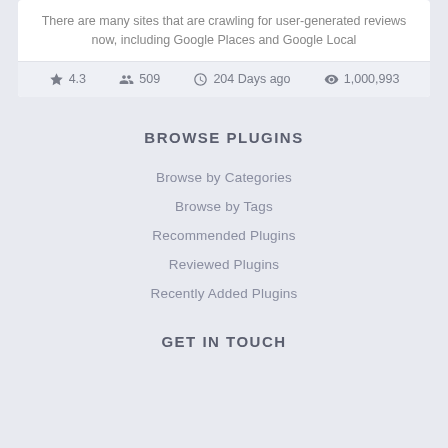There are many sites that are crawling for user-generated reviews now, including Google Places and Google Local
★ 4.3  👥 509  ⏱ 204 Days ago  🔢 1,000,993
BROWSE PLUGINS
Browse by Categories
Browse by Tags
Recommended Plugins
Reviewed Plugins
Recently Added Plugins
GET IN TOUCH